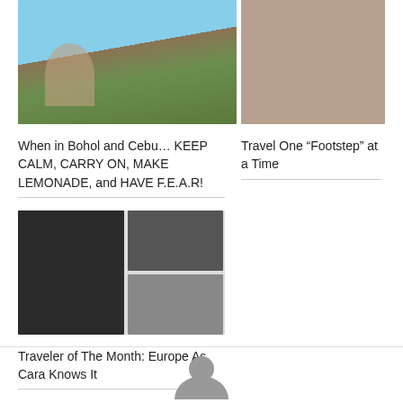[Figure (photo): Photo of woman with sunglasses outdoors in Bohol landscape with hills and blue sky]
When in Bohol and Cebu... KEEP CALM, CARRY ON, MAKE LEMONADE, and HAVE F.E.A.R!
[Figure (photo): Two people standing together indoors, travel photo]
Travel One “Footstep” at a Time
[Figure (photo): Composite of three photos: woman playing flute on left, two smaller photos on right showing people]
Traveler of The Month: Europe As Cara Knows It